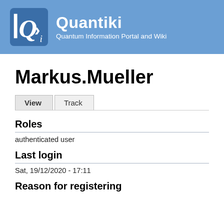Quantiki — Quantum Information Portal and Wiki
Markus.Mueller
View | Track
Roles
authenticated user
Last login
Sat, 19/12/2020 - 17:11
Reason for registering